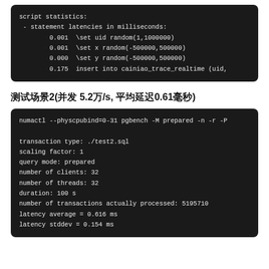[Figure (screenshot): Dark terminal/code block showing script statistics with statement latencies: 0.001 for \set uid random(1,1000000), 0.001 for \set x random(-500000,500000), 0.000 for \set y random(-500000,500000), 0.175 for insert into cainiao_trace_realtime (uid,]
测试场景2(并发 5.2万/s, 平均延迟0.61毫秒)
[Figure (screenshot): Dark terminal/code block showing pgbench command and results: numactl --physcpubind=0-31 pgbench -M prepared -n -r -P; transaction type: ./test2.sql; scaling factor: 1; query mode: prepared; number of clients: 32; number of threads: 32; duration: 100 s; number of transactions actually processed: 5195710; latency average = 0.616 ms; latency stddev = 0.154 ms]